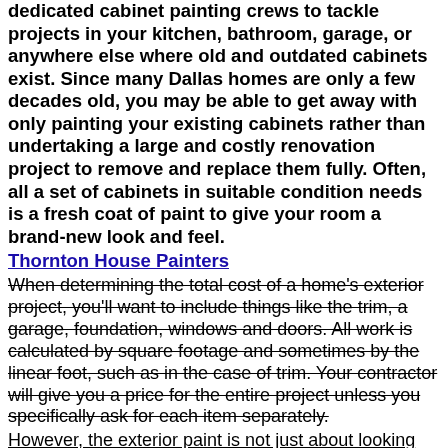dedicated cabinet painting crews to tackle projects in your kitchen, bathroom, garage, or anywhere else where old and outdated cabinets exist. Since many Dallas homes are only a few decades old, you may be able to get away with only painting your existing cabinets rather than undertaking a large and costly renovation project to remove and replace them fully. Often, all a set of cabinets in suitable condition needs is a fresh coat of paint to give your room a brand-new look and feel.
Thornton House Painters
When determining the total cost of a home's exterior project, you'll want to include things like the trim, a garage, foundation, windows and doors. All work is calculated by square footage and sometimes by the linear foot, such as in the case of trim. Your contractor will give you a price for the entire project unless you specifically ask for each item separately.
However, the exterior paint is not just about looking good. If it were only up to that, we'd paint the outside of our houses every year. A good exterior paint job is also protective. Outside paints are usually more durable and serve not only to look good but to protect your house. Coating wood or other materials with paint and protective coating will protect the outside of your house from deteriorating faster. The outside is exposed to a lot of sunlight, rain, snow and all kinds of different weather, with important consequences on...